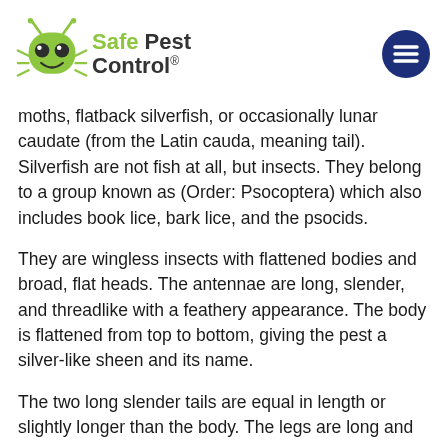Safe Pest Control
moths, flatback silverfish, or occasionally lunar caudate (from the Latin cauda, meaning tail). Silverfish are not fish at all, but insects. They belong to a group known as (Order: Psocoptera) which also includes book lice, bark lice, and the psocids.
They are wingless insects with flattened bodies and broad, flat heads. The antennae are long, slender, and threadlike with a feathery appearance. The body is flattened from top to bottom, giving the pest a silver-like sheen and its name.
The two long slender tails are equal in length or slightly longer than the body. The legs are long and